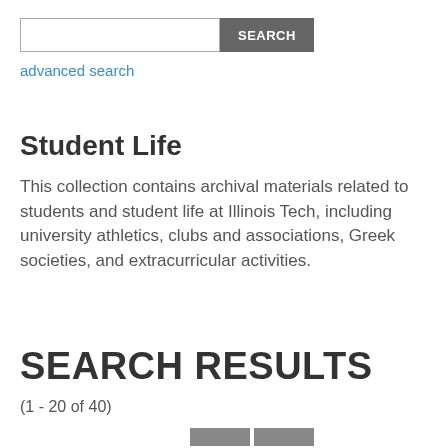[Figure (screenshot): Search input box with SEARCH button]
advanced search
Student Life
This collection contains archival materials related to students and student life at Illinois Tech, including university athletics, clubs and associations, Greek societies, and extracurricular activities.
SEARCH RESULTS
(1 - 20 of 40)